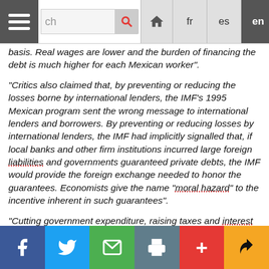Navigation bar with hamburger menu, search, and language options: fr es en pt it de Arabic
basis. Real wages are lower and the burden of financing the debt is much higher for each Mexican worker".
“Critics also claimed that, by preventing or reducing the losses borne by international lenders, the IMF’s 1995 Mexican program sent the wrong message to international lenders and borrowers. By preventing or reducing losses by international lenders, the IMF had implicitly signalled that, if local banks and other firm institutions incurred large foreign liabilities and governments guaranteed private debts, the IMF would provide the foreign exchange needed to honor the guarantees. Economists give the name “moral hazard” to the incentive inherent in such guarantees".
“Cutting government expenditure, raising taxes and interest rates and closing banks aggravated the
Share bar: Facebook, Twitter, Email, Print, Plus, Pocket